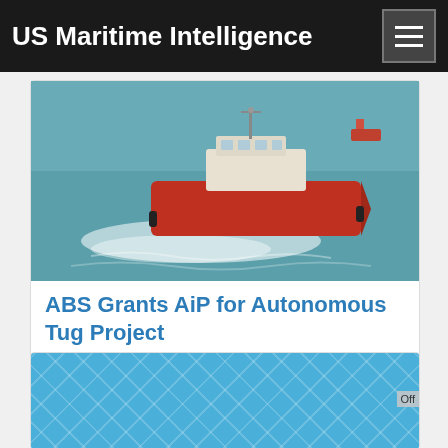US Maritime Intelligence
[Figure (photo): Aerial or elevated view of a red tugboat moving through blue-green water, leaving a white wake. A smaller vessel is visible in the upper right.]
ABS Grants AiP for Autonomous Tug Project
Classification society ABS has awarded Approval in Principle
[Figure (photo): Light blue image with a diagonal diamond/grid pattern, partially visible. A small badge reading 'Off' visible at right edge.]